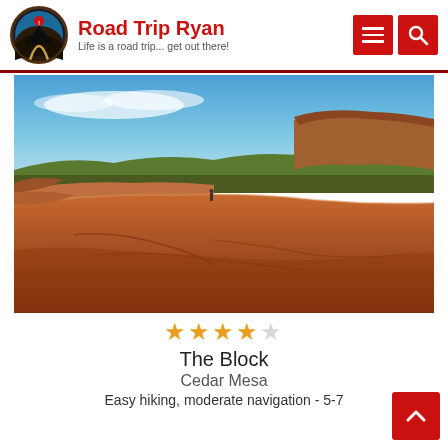[Figure (logo): Road Trip Ryan logo: circular emblem with mountain/road design]
Road Trip Ryan
Life is a road trip... get out there!
[Figure (photo): Landscape photo of red rock formations at Cedar Mesa with blue sky, flat sandstone in foreground, small human figure visible, mesa butte in background]
★★★★☆
The Block
Cedar Mesa
Easy hiking, moderate navigation - 5-7